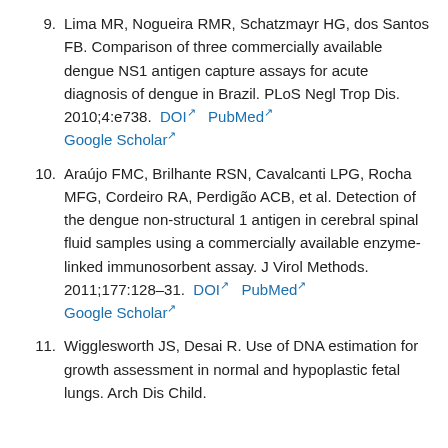9. Lima MR, Nogueira RMR, Schatzmayr HG, dos Santos FB. Comparison of three commercially available dengue NS1 antigen capture assays for acute diagnosis of dengue in Brazil. PLoS Negl Trop Dis. 2010;4:e738. DOI PubMed Google Scholar
10. Araújo FMC, Brilhante RSN, Cavalcanti LPG, Rocha MFG, Cordeiro RA, Perdigão ACB, et al. Detection of the dengue non-structural 1 antigen in cerebral spinal fluid samples using a commercially available enzyme-linked immunosorbent assay. J Virol Methods. 2011;177:128–31. DOI PubMed Google Scholar
11. Wigglesworth JS, Desai R. Use of DNA estimation for growth assessment in normal and hypoplastic fetal lungs. Arch Dis Child.